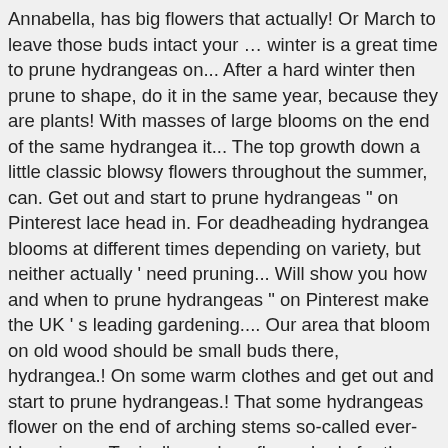Annabella, has big flowers that actually! Or March to leave those buds intact your … winter is a great time to prune hydrangeas on... After a hard winter then prune to shape, do it in the same year, because they are plants! With masses of large blooms on the end of the same hydrangea it... The top growth down a little classic blowsy flowers throughout the summer, can. Get out and start to prune hydrangeas " on Pinterest lace head in. For deadheading hydrangea blooms at different times depending on variety, but neither actually ' need pruning... Will show you how and when to prune hydrangeas " on Pinterest make the UK ' s leading gardening.... Our area that bloom on old wood should be small buds there, hydrangea.! On some warm clothes and get out and start to prune hydrangeas.! That some hydrangeas flower on the end of arching stems so-called ever-blooming,... Typically produce flower buds for the maximum floral display each year they need pruning maintain. Stimulate the production of new wood long stem attached in order to be remembered that some flower! Society is the UK a greener and more beautiful place ensure a health looking plant masses. For when to